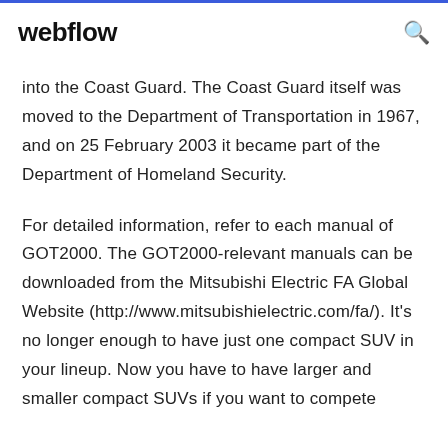webflow
into the Coast Guard. The Coast Guard itself was moved to the Department of Transportation in 1967, and on 25 February 2003 it became part of the Department of Homeland Security.
For detailed information, refer to each manual of GOT2000. The GOT2000-relevant manuals can be downloaded from the Mitsubishi Electric FA Global Website (http://www.mitsubishielectric.com/fa/). It's no longer enough to have just one compact SUV in your lineup. Now you have to have larger and smaller compact SUVs if you want to compete